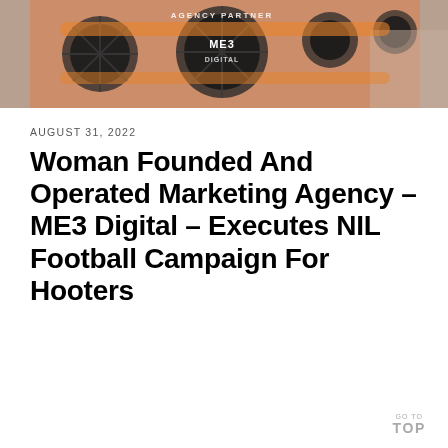[Figure (photo): Orange and dark background with ME3 Digital branding, logos and circular design elements, people visible in background]
AUGUST 31, 2022
Woman Founded And Operated Marketing Agency – ME3 Digital – Executes NIL Football Campaign For Hooters
GO TO TOP